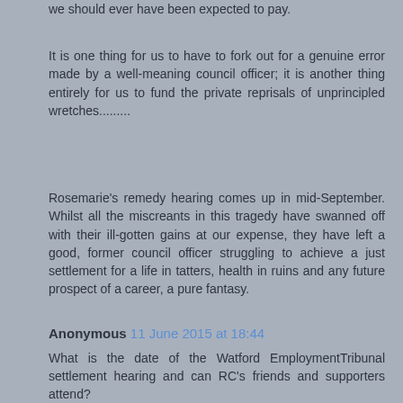we should ever have been expected to pay.
It is one thing for us to have to fork out for a genuine error made by a well-meaning council officer; it is another thing entirely for us to fund the private reprisals of unprincipled wretches.........
Rosemarie's remedy hearing comes up in mid-September. Whilst all the miscreants in this tragedy have swanned off with their ill-gotten gains at our expense, they have left a good, former council officer struggling to achieve a just settlement for a life in tatters, health in ruins and any future prospect of a career, a pure fantasy.
Anonymous 11 June 2015 at 18:44
What is the date of the Watford EmploymentTribunal settlement hearing and can RC's friends and supporters attend?